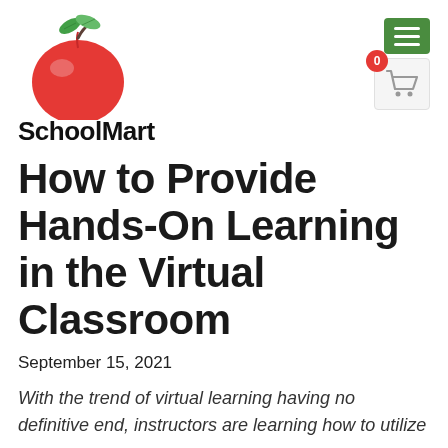[Figure (logo): SchoolMart logo with red apple and green leaves above the text 'SchoolMart' in bold black font]
[Figure (other): Green hamburger menu button with three white horizontal lines, and a shopping cart icon in a light gray box with a red badge showing '0']
How to Provide Hands-On Learning in the Virtual Classroom
September 15, 2021
With the trend of virtual learning having no definitive end, instructors are learning how to utilize